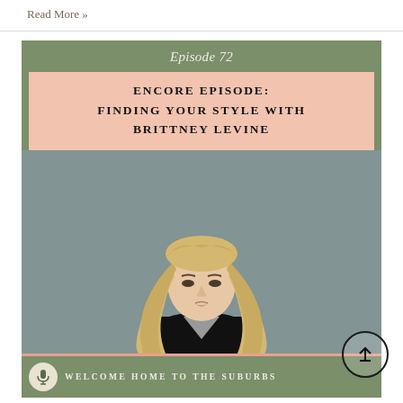Read More »
[Figure (infographic): Podcast episode card for 'Welcome Home to the Suburbs' podcast. Shows Episode 72: Encore Episode: Finding Your Style with Brittney Levine. Features a photo of a blonde woman in a black dress against a gray background. Card has olive green header and footer, a peach/salmon title box, and a pink accent line at the bottom. Footer shows a microphone icon and the podcast name.]
Episode 72
ENCORE EPISODE: FINDING YOUR STYLE WITH BRITTNEY LEVINE
WELCOME HOME TO THE SUBURBS